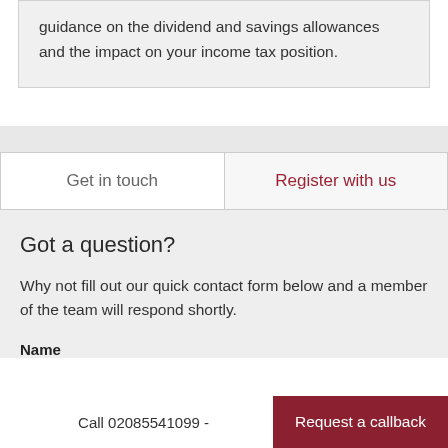guidance on the dividend and savings allowances and the impact on your income tax position.
Get in touch
Register with us
Got a question?
Why not fill out our quick contact form below and a member of the team will respond shortly.
Name
Call 02085541099 - Request a callback